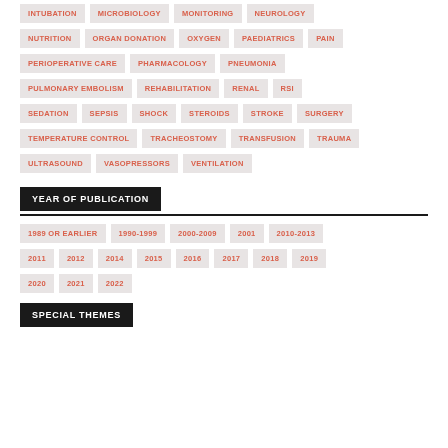INTUBATION
MICROBIOLOGY
MONITORING
NEUROLOGY
NUTRITION
ORGAN DONATION
OXYGEN
PAEDIATRICS
PAIN
PERIOPERATIVE CARE
PHARMACOLOGY
PNEUMONIA
PULMONARY EMBOLISM
REHABILITATION
RENAL
RSI
SEDATION
SEPSIS
SHOCK
STEROIDS
STROKE
SURGERY
TEMPERATURE CONTROL
TRACHEOSTOMY
TRANSFUSION
TRAUMA
ULTRASOUND
VASOPRESSORS
VENTILATION
YEAR OF PUBLICATION
1989 OR EARLIER
1990-1999
2000-2009
2001
2010-2013
2011
2012
2014
2015
2016
2017
2018
2019
2020
2021
2022
SPECIAL THEMES